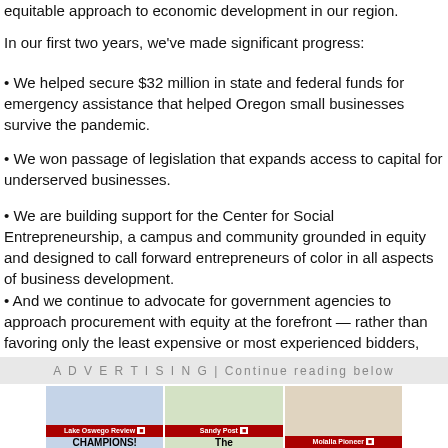equitable approach to economic development in our region.
In our first two years, we've made significant progress:
• We helped secure $32 million in state and federal funds for emergency assistance that helped Oregon small businesses survive the pandemic.
• We won passage of legislation that expands access to capital for underserved businesses.
• We are building support for the Center for Social Entrepreneurship, a campus and community grounded in equity and designed to call forward entrepreneurs of color in all aspects of business development.
• And we continue to advocate for government agencies to approach procurement with equity at the forefront — rather than favoring only the least expensive or most experienced bidders, which disadvantages BIPOC vendors and contractors.
ADVERTISING | Continue reading below
[Figure (photo): Advertisement banner showing three newspaper thumbnails: Lake Oswego Review, Sandy Post, and Molalla Pioneer with CHAMPIONS! headlines]